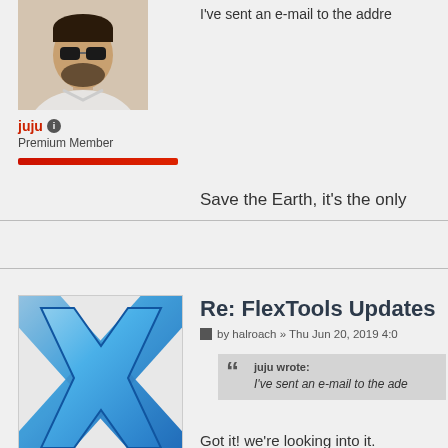[Figure (photo): Profile photo of user juju — a man with sunglasses and a beard wearing a white shirt]
juju
Premium Member
I've sent an e-mail to the addre
Save the Earth, it's the only
Re: FlexTools Updates
by halroach » Thu Jun 20, 2019 4:0
[Figure (logo): halroach user avatar — a blue X logo on light gray background]
halroach
juju wrote:
I've sent an e-mail to the ade
Got it! we're looking into it.